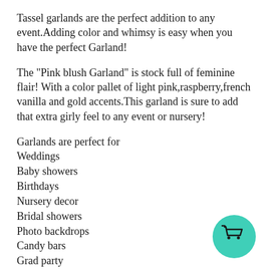Tassel garlands are the perfect addition to any event.Adding color and whimsy is easy when you have the perfect Garland!
The "Pink blush Garland" is stock full of feminine flair! With a color pallet of light pink,raspberry,french vanilla and gold accents.This garland is sure to add that extra girly feel to any event or nursery!
Garlands are perfect for
Weddings
Baby showers
Birthdays
Nursery decor
Bridal showers
Photo backdrops
Candy bars
Grad party
Kids rooms
[Figure (illustration): Teal/turquoise circle with a white shopping cart icon inside]